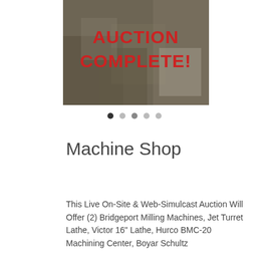[Figure (photo): A workshop/machine shop interior photo with a red overlaid text reading AUCTION COMPLETE!]
Machine Shop
This Live On-Site & Web-Simulcast Auction Will Offer (2) Bridgeport Milling Machines, Jet Turret Lathe, Victor 16" Lathe, Hurco BMC-20 Machining Center, Boyar Schultz